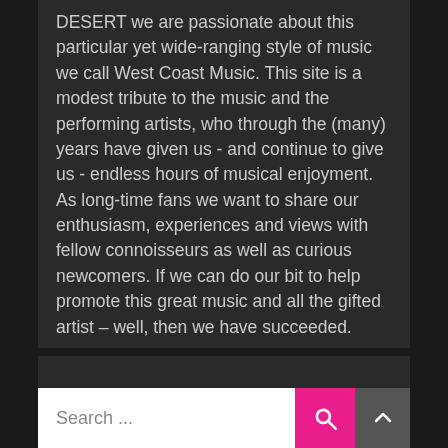DESERT we are passionate about this particular yet wide-ranging style of music we call West Coast Music. This site is a modest tribute to the music and the performing artists, who through the (many) years have given us - and continue to give us - endless hours of musical enjoyment. As long-time fans we want to share our enthusiasm, experiences and views with fellow connoisseurs as well as curious newcomers. If we can do our bit to help promote this great music and all the gifted artist – well, then we have succeeded.
Search ...